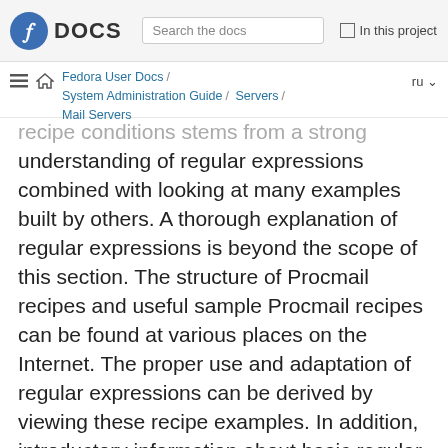DOCS | Search the docs | In this project
Fedora User Docs / System Administration Guide / Servers / Mail Servers | ru
recipe conditions stems from a strong understanding of regular expressions combined with looking at many examples built by others. A thorough explanation of regular expressions is beyond the scope of this section. The structure of Procmail recipes and useful sample Procmail recipes can be found at various places on the Internet. The proper use and adaptation of regular expressions can be derived by viewing these recipe examples. In addition, introductory information about basic regular expression rules can be found in the grep(1) man page.